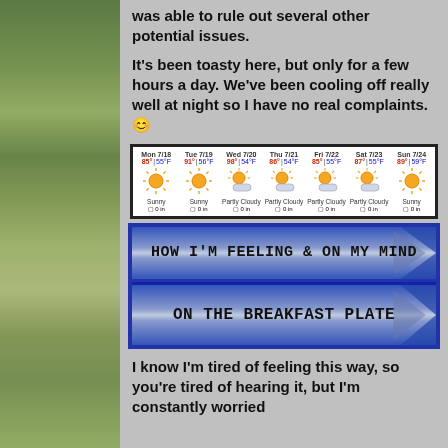was able to rule out several other potential issues.
It's been toasty here, but only for a few hours a day. We've been cooling off really well at night so I have no real complaints. 🙂
[Figure (other): 7-day weather forecast widget showing Mon 7/18 through Sun 7/24. Temps ranging from 85-91°F highs and 54-59°F lows. Conditions: Sunny, Sunny, Partly Cloudy, Partly Cloudy, Partly Cloudy, Partly Cloudy, Sunny. All showing 0 in precipitation.]
[Figure (infographic): Two decorative banner ribbons with blue denim-style borders. First banner reads 'HOW I'M FEELING & ON MY MIND'. Second banner reads 'ON THE BREAKFAST PLATE'. Both have arrow/chevron design pointing left.]
I know I'm tired of feeling this way, so you're tired of hearing it, but I'm constantly worried